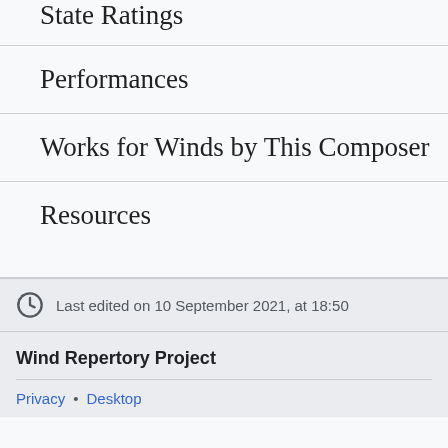State Ratings
Performances
Works for Winds by This Composer
Resources
Last edited on 10 September 2021, at 18:50
Wind Repertory Project
Privacy • Desktop